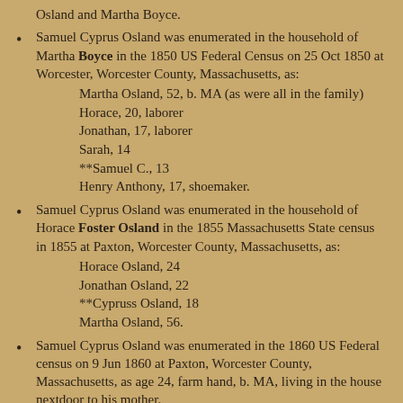Osland and Martha Boyce.
Samuel Cyprus Osland was enumerated in the household of Martha Boyce in the 1850 US Federal Census on 25 Oct 1850 at Worcester, Worcester County, Massachusetts, as: Martha Osland, 52, b. MA (as were all in the family) Horace, 20, laborer Jonathan, 17, laborer Sarah, 14 **Samuel C., 13 Henry Anthony, 17, shoemaker.
Samuel Cyprus Osland was enumerated in the household of Horace Foster Osland in the 1855 Massachusetts State census in 1855 at Paxton, Worcester County, Massachusetts, as: Horace Osland, 24 Jonathan Osland, 22 **Cypruss Osland, 18 Martha Osland, 56.
Samuel Cyprus Osland was enumerated in the 1860 US Federal census on 9 Jun 1860 at Paxton, Worcester County, Massachusetts, as age 24, farm hand, b. MA, living in the house nextdoor to his mother.
At the time of his enlistment in the 15th Massachusetts Volunteer Infantry, Samuel gave his occupation as farmer. In 1861 Samuel residing at Paxton, at Lunner C...